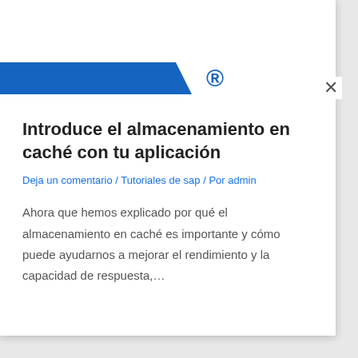[Figure (screenshot): Blue parallelogram bar logo with registered trademark symbol]
Introduce el almacenamiento en caché con tu aplicación
Deja un comentario / Tutoriales de sap / Por admin
Ahora que hemos explicado por qué el almacenamiento en caché es importante y cómo puede ayudarnos a mejorar el rendimiento y la capacidad de respuesta,...